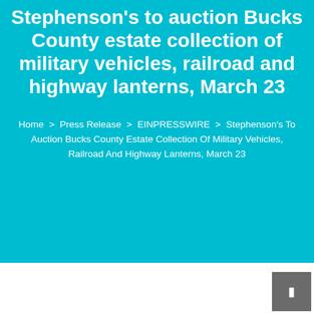Stephenson's to auction Bucks County estate collection of military vehicles, railroad and highway lanterns, March 23
Home > Press Release > EINPRESSWIRE > Stephenson's To Auction Bucks County Estate Collection Of Military Vehicles, Railroad And Highway Lanterns, March 23